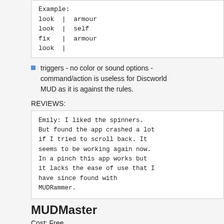[Figure (screenshot): Code block showing example commands: look | armour, look | self, fix | armour, look |]
triggers - no color or sound options - command/action is useless for Discworld MUD as it is against the rules.
REVIEWS:
[Figure (screenshot): Review text box: Emily: I liked the spinners. But found the app crashed a lot if I tried to scroll back. It seems to be working again now. In a pinch this app works but it lacks the ease of use that I have since found with MUDRammer.]
MUDMaster
Cost: Free
FEATURES:
24 fonts